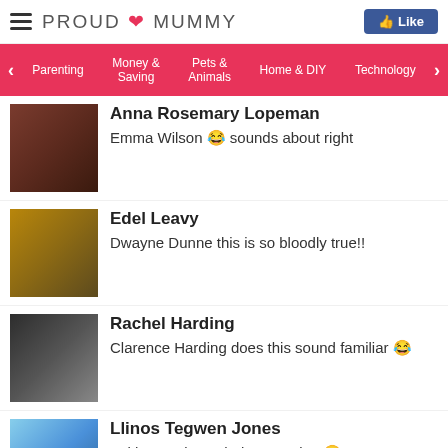PROUD MUMMY
Anna Rosemary Lopeman — Emma Wilson 😂 sounds about right
Edel Leavy — Dwayne Dunne this is so bloodly true!!
Rachel Harding — Clarence Harding does this sound familiar 😂
Llinos Tegwen Jones — Fel hyn mai yn mhobman Leisa 😂
Susan Gillanders — lol 😂 x
Darla Fanner (partial)